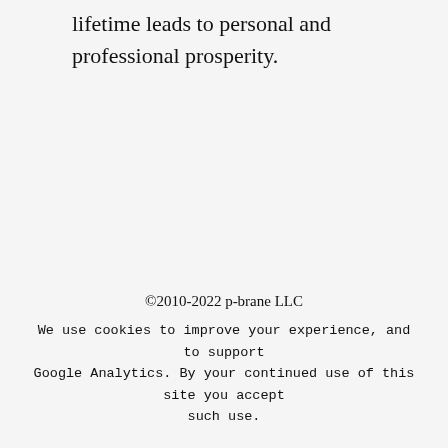lifetime leads to personal and professional prosperity.
©2010-2022 p-brane LLC
We use cookies to improve your experience, and to support Google Analytics. By your continued use of this site you accept such use.